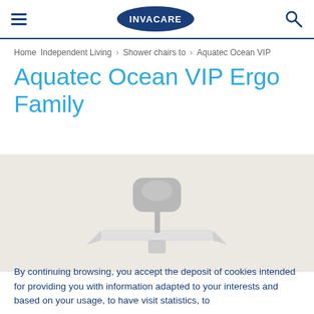INVACARE
Home Independent Living  Shower chairs to  Aquatec Ocean VIP
Aquatec Ocean VIP Ergo Family
[Figure (photo): Aquatec Ocean VIP Ergo shower chair product photo on a beige/cream background]
By continuing browsing, you accept the deposit of cookies intended for providing you with information adapted to your interests and based on your usage, to have visit statistics, to